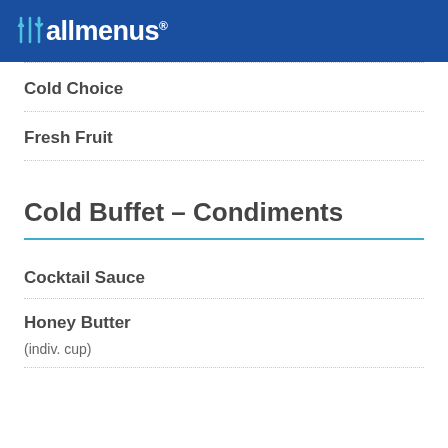allmenus
Cold Choice
Fresh Fruit
Cold Buffet - Condiments
Cocktail Sauce
Honey Butter
(indiv. cup)